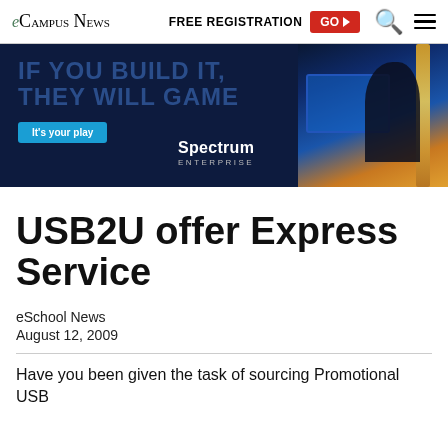eCampus News — FREE REGISTRATION GO ▶
[Figure (screenshot): Advertisement banner: dark navy background with text 'IF YOU BUILD IT, THEY WILL GAME' in large blue text, 'It's your play' blue button, Spectrum Enterprise logo, and photo of person gaming at monitors on the right.]
USB2U offer Express Service
eSchool News
August 12, 2009
Have you been given the task of sourcing Promotional USB